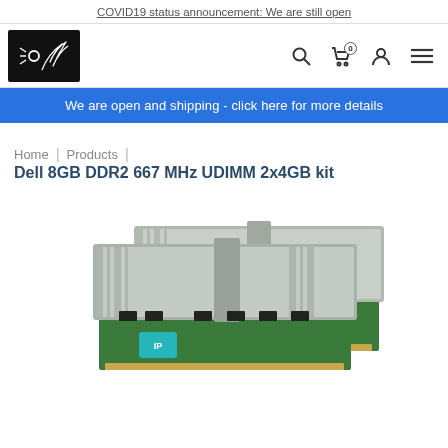COVID19 status announcement: We are still open
[Figure (logo): Company logo: black square with stylized circuit/palm leaf icon]
We are open and shipping - click here for more details
Home | Products | Dell 8GB DDR2 667 MHz UDIMM 2x4GB kit
[Figure (photo): Photo of two DDR2 RAM memory modules with metallic heatspreaders on green PCB, showing a teal/cyan logo sticker]